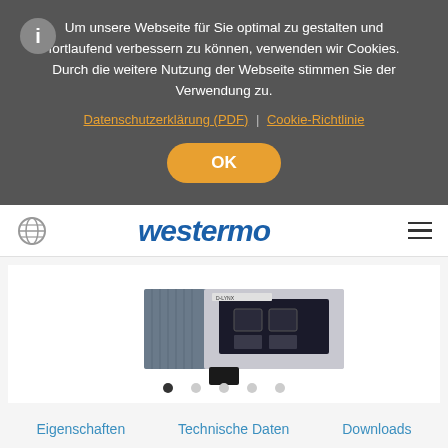Um unsere Webseite für Sie optimal zu gestalten und fortlaufend verbessern zu können, verwenden wir Cookies. Durch die weitere Nutzung der Webseite stimmen Sie der Verwendung zu.
Datenschutzerklärung (PDF) | Cookie-Richtlinie
OK
[Figure (logo): Westermo company logo in blue italic bold text]
[Figure (photo): Industrial network switch hardware device - D-LYNX series with ethernet ports visible]
Eigenschaften   Technische Daten   Downloads